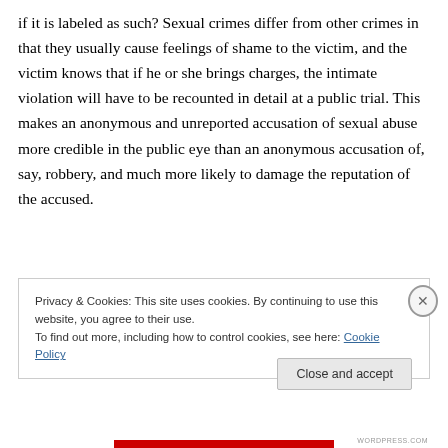if it is labeled as such? Sexual crimes differ from other crimes in that they usually cause feelings of shame to the victim, and the victim knows that if he or she brings charges, the intimate violation will have to be recounted in detail at a public trial. This makes an anonymous and unreported accusation of sexual abuse more credible in the public eye than an anonymous accusation of, say, robbery, and much more likely to damage the reputation of the accused.
Privacy & Cookies: This site uses cookies. By continuing to use this website, you agree to their use. To find out more, including how to control cookies, see here: Cookie Policy
WORDPRESS.COM